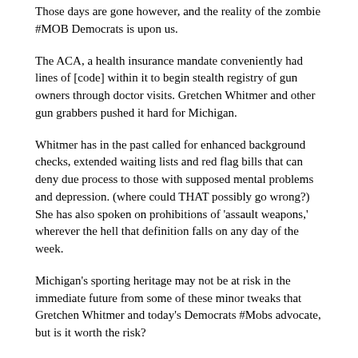Those days are gone however, and the reality of the zombie #MOB Democrats is upon us.
The ACA, a health insurance mandate conveniently had lines of [code] within it to begin stealth registry of gun owners through doctor visits. Gretchen Whitmer and other gun grabbers pushed it hard for Michigan.
Whitmer has in the past called for enhanced background checks, extended waiting lists and red flag bills that can deny due process to those with supposed mental problems and depression. (where could THAT possibly go wrong?) She has also spoken on prohibitions of 'assault weapons,' wherever the hell that definition falls on any day of the week.
Michigan's sporting heritage may not be at risk in the immediate future from some of these minor tweaks that Gretchen Whitmer and today's Democrats #Mobs advocate, but is it worth the risk?
Halloween can be spooky enough without this ghoul stalking law abiding gun owners.
Break out the garlic and set the zombie traps.